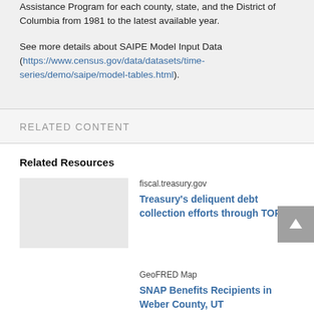Assistance Program for each county, state, and the District of Columbia from 1981 to the latest available year.

See more details about SAIPE Model Input Data (https://www.census.gov/data/datasets/time-series/demo/saipe/model-tables.html).
RELATED CONTENT
Related Resources
fiscal.treasury.gov
Treasury's deliquent debt collection efforts through TOP
GeoFRED Map
SNAP Benefits Recipients in Weber County, UT